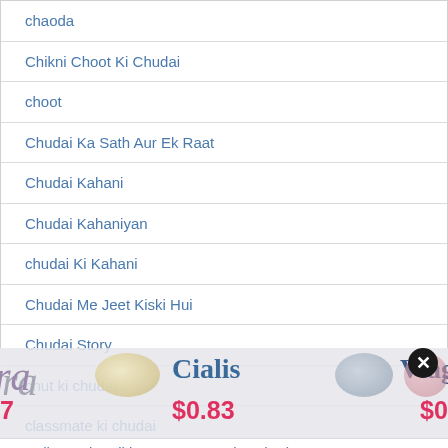chaoda
Chikni Choot Ki Chudai
choot
Chudai Ka Sath Aur Ek Raat
Chudai Kahani
Chudai Kahaniyan
chudai Ki Kahani
Chudai Me Jeet Kiski Hui
Chudai Story
chut ki chudai
classmate ki chudai
[Figure (screenshot): Pharmaceutical advertisement overlay showing Cialis at $0.83 and Viagra Pro at $0.98 with pill images and a close button]
College Ki Ladki Ko Dost Bana ke Choda